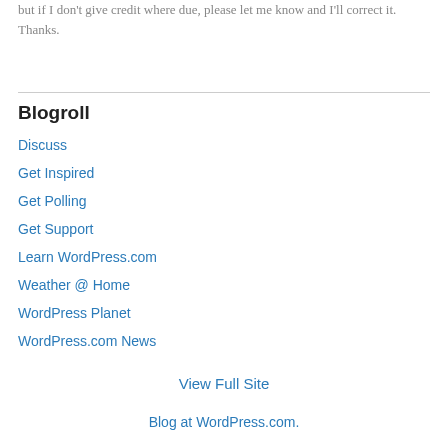but if I don't give credit where due, please let me know and I'll correct it. Thanks.
Blogroll
Discuss
Get Inspired
Get Polling
Get Support
Learn WordPress.com
Weather @ Home
WordPress Planet
WordPress.com News
View Full Site
Blog at WordPress.com.